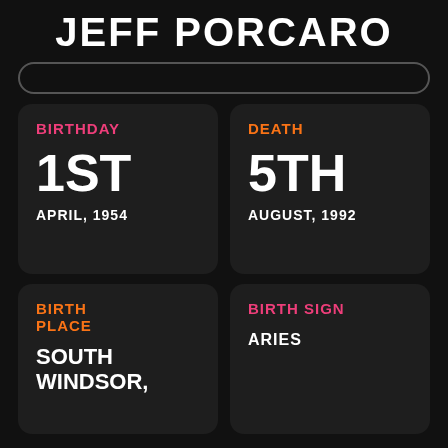JEFF PORCARO
(search bar)
BIRTHDAY
1ST
APRIL, 1954
DEATH
5TH
AUGUST, 1992
BIRTH PLACE
SOUTH WINDSOR,
BIRTH SIGN
ARIES